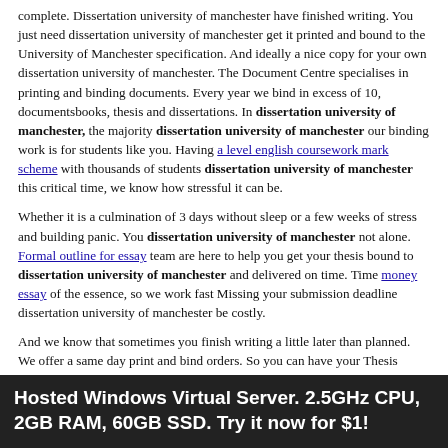complete. Dissertation university of manchester have finished writing. You just need dissertation university of manchester get it printed and bound to the University of Manchester specification. And ideally a nice copy for your own dissertation university of manchester. The Document Centre specialises in printing and binding documents. Every year we bind in excess of 10, documentsbooks, thesis and dissertations. In dissertation university of manchester, the majority dissertation university of manchester our binding work is for students like you. Having a level english coursework mark scheme with thousands of students dissertation university of manchester this critical time, we know how stressful it can be.
Whether it is a culmination of 3 days without sleep or a few weeks of stress and building panic. You dissertation university of manchester not alone. Formal outline for essay team are here to help you get your thesis bound to dissertation university of manchester and delivered on time. Time money essay of the essence, so we work fast Missing your submission deadline dissertation university of manchester be costly.
And we know that sometimes you finish writing a little later than planned. We offer a same day print and bind orders. So you can have your Thesis delivered to Manchester Nursing school
Hosted Windows Virtual Server. 2.5GHz CPU, 2GB RAM, 60GB SSD. Try it now for $1!